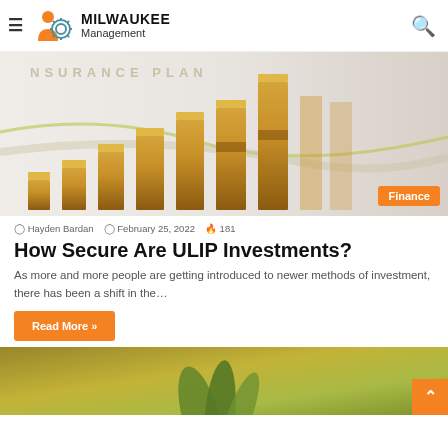Milwaukee Management
[Figure (photo): Rising golden bar chart columns on a light background with text 'NSURANCE PLAN' at the top, and a Finance badge in the bottom right corner.]
Hayden Bardan  February 25, 2022  181
How Secure Are ULIP Investments?
As more and more people are getting introduced to newer methods of investment, there has been a shift in the…
Read More »
[Figure (photo): Green plant leaves on a blurred warm golden-green background.]